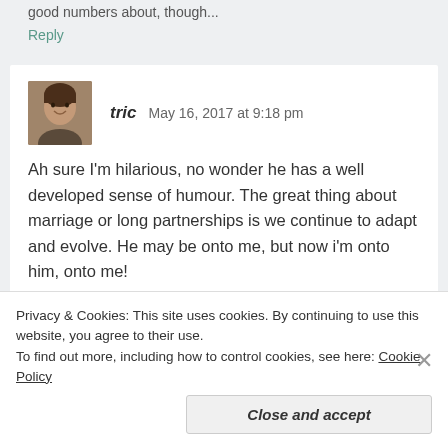good numbers about, though...
Reply
[Figure (photo): Avatar photo of commenter tric showing a smiling person with dark hair]
tric   May 16, 2017 at 9:18 pm
Ah sure I'm hilarious, no wonder he has a well developed sense of humour. The great thing about marriage or long partnerships is we continue to adapt and evolve. He may be onto me, but now i'm onto him, onto me!
Privacy & Cookies: This site uses cookies. By continuing to use this website, you agree to their use.
To find out more, including how to control cookies, see here: Cookie Policy
Close and accept